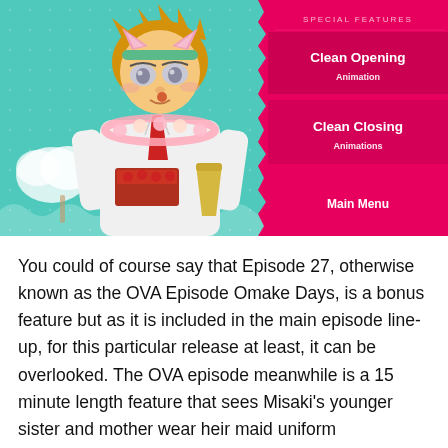[Figure (screenshot): Anime DVD/Blu-ray special features menu screenshot showing an anime character (blonde male with cat ears headband, wearing white shirt with red tie and flower lei, holding food and cotton candy) against a teal polka-dot background on the left, and a pink menu panel on the right with options: 'SPECIAL FEATURES', 'Clean Opening Animation', 'Clean Closing Animations', 'Main Menu']
You could of course say that Episode 27, otherwise known as the OVA Episode Omake Days, is a bonus feature but as it is included in the main episode line-up, for this particular release at least, it can be overlooked. The OVA episode meanwhile is a 15 minute length feature that sees Misaki's younger sister and mother wear heir maid uniform